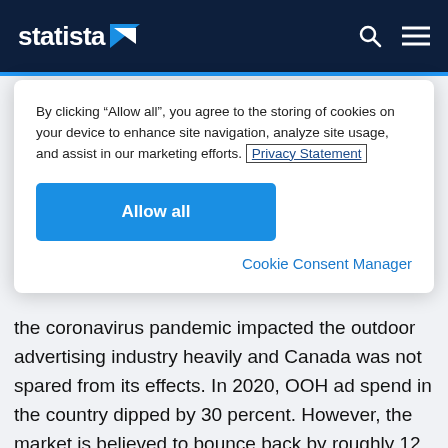statista
By clicking “Allow all”, you agree to the storing of cookies on your device to enhance site navigation, analyze site usage, and assist in our marketing efforts. Privacy Statement
Allow all
Cookie Consent Manager
the coronavirus pandemic impacted the outdoor advertising industry heavily and Canada was not spared from its effects. In 2020, OOH ad spend in the country dipped by 30 percent. However, the market is believed to bounce back by roughly 12 to 15 percent and reach 929 million Canadian dollars by the end of 2023.